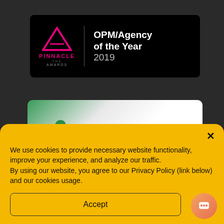[Figure (logo): The Pinnacle Awards logo — pink triangle with 'THE PINNACLE AWARDS' text, beside 'OPM/Agency of the Year 2019' on a black background card]
[Figure (other): Partially visible green and white card with a green dot and partially visible text '2016 CLI UNIVERSITY']
We use cookies to provide necessary website functionality, improve your experience, and analyze our traffic. By using our website, you agree to our Privacy Policy (link below) and our cookies usage.
Accept